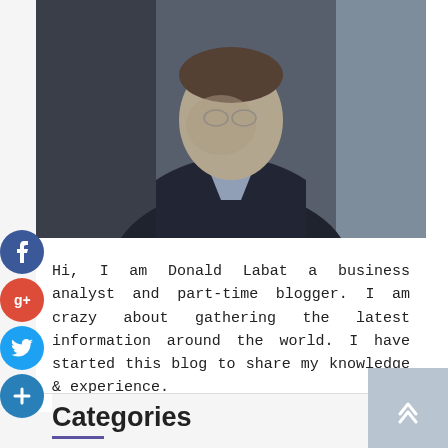[Figure (photo): Professional headshot of a man in a dark suit and checkered shirt, photographed against a window, looking downward slightly]
Hi, I am Donald Labat a business analyst and part-time blogger. I am crazy about gathering the latest information around the world. I have started this blog to share my knowledge & experience.
Categories